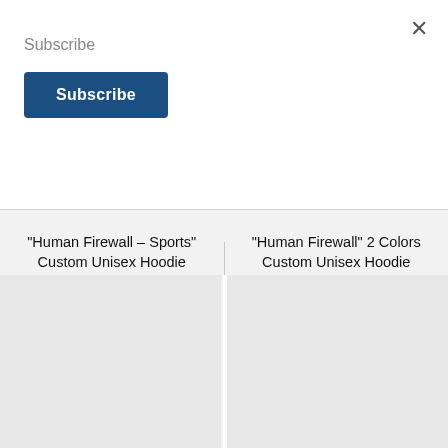Subscribe
Subscribe (button)
×
"Human Firewall - Sports" Custom Unisex Hoodie — $37.50+
"Human Firewall" 2 Colors Custom Unisex Hoodie — $33.50+
[Figure (photo): Product image placeholder - left hoodie]
[Figure (photo): Product image placeholder - right hoodie]